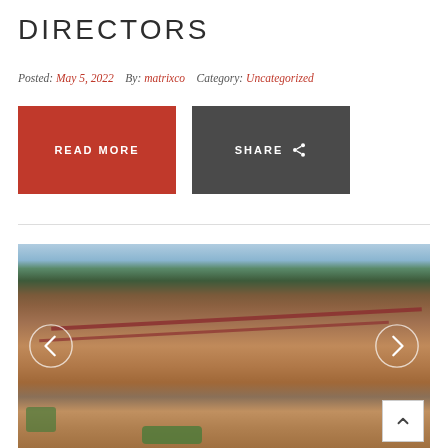DIRECTORS
Posted: May 5, 2022   By: matrixco   Category: Uncategorized
READ MORE
SHARE
[Figure (photo): Aerial drone photograph of a large graded construction site with red clay soil, tree lines in the background, and orange/red access road stripes across the terrain. Navigation arrows (left and right) are overlaid on the image, and a scroll-to-top button appears in the bottom right corner.]